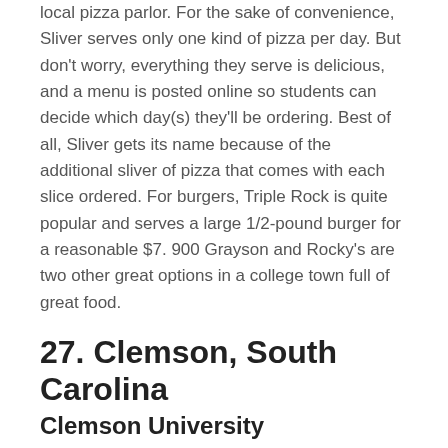local pizza parlor. For the sake of convenience, Sliver serves only one kind of pizza per day. But don't worry, everything they serve is delicious, and a menu is posted online so students can decide which day(s) they'll be ordering. Best of all, Sliver gets its name because of the additional sliver of pizza that comes with each slice ordered. For burgers, Triple Rock is quite popular and serves a large 1/2-pound burger for a reasonable $7. 900 Grayson and Rocky's are two other great options in a college town full of great food.
27. Clemson, South Carolina
Clemson University
As every college student knows well, a craving for pizza or burgers can come at any hour of the day (or night!). Luckily for those at Clemson University, local Todaro Pizza aims to keep its local student